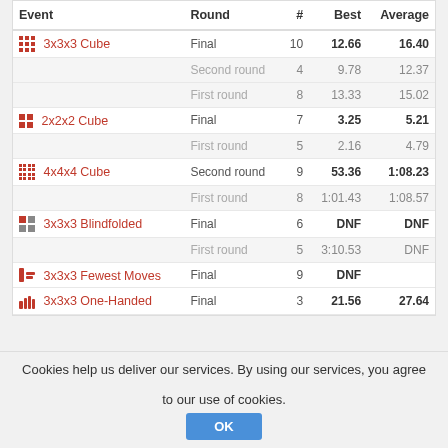| Event | Round | # | Best | Average |
| --- | --- | --- | --- | --- |
| 3x3x3 Cube | Final | 10 | 12.66 | 16.40 |
|  | Second round | 4 | 9.78 | 12.37 |
|  | First round | 8 | 13.33 | 15.02 |
| 2x2x2 Cube | Final | 7 | 3.25 | 5.21 |
|  | First round | 5 | 2.16 | 4.79 |
| 4x4x4 Cube | Second round | 9 | 53.36 | 1:08.23 |
|  | First round | 8 | 1:01.43 | 1:08.57 |
| 3x3x3 Blindfolded | Final | 6 | DNF | DNF |
|  | First round | 5 | 3:10.53 | DNF |
| 3x3x3 Fewest Moves | Final | 9 | DNF |  |
| 3x3x3 One-Handed | Final | 3 | 21.56 | 27.64 |
Cookies help us deliver our services. By using our services, you agree to our use of cookies.